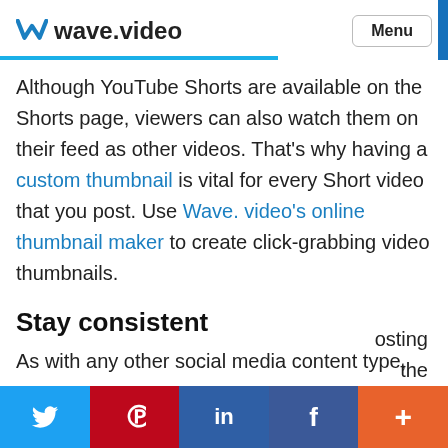wave.video — Menu
Although YouTube Shorts are available on the Shorts page, viewers can also watch them on their feed as other videos. That’s why having a custom thumbnail is vital for every Short video that you post. Use Wave. video’s online thumbnail maker to create click-grabbing video thumbnails.
Stay consistent
As with any other social media content type,